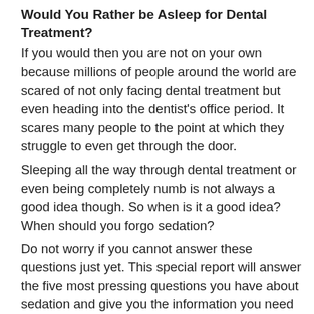Would You Rather be Asleep for Dental Treatment?
If you would then you are not on your own because millions of people around the world are scared of not only facing dental treatment but even heading into the dentist's office period. It scares many people to the point at which they struggle to even get through the door.
Sleeping all the way through dental treatment or even being completely numb is not always a good idea though. So when is it a good idea? When should you forgo sedation?
Do not worry if you cannot answer these questions just yet. This special report will answer the five most pressing questions you have about sedation and give you the information you need to make an informed decision next time your dentist offers it.
To Sedate or Not to Sedate… That is the Question! Dentists do offer sedation for a number of purposes